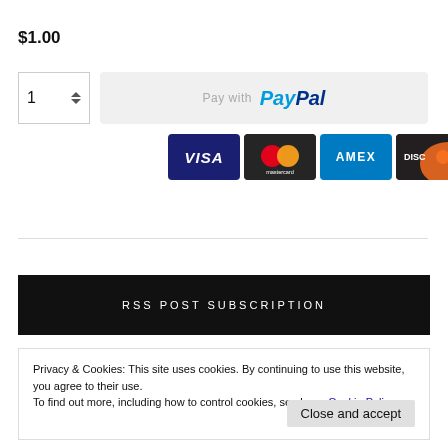$1.00
[Figure (screenshot): Quantity selector with value 1 and up/down arrows, and PayPal payment button with Visa, Mastercard, Amex, Discover card logos]
RSS POST SUBSCRIPTION
Privacy & Cookies: This site uses cookies. By continuing to use this website, you agree to their use.
To find out more, including how to control cookies, see here: Cookie Policy
Close and accept